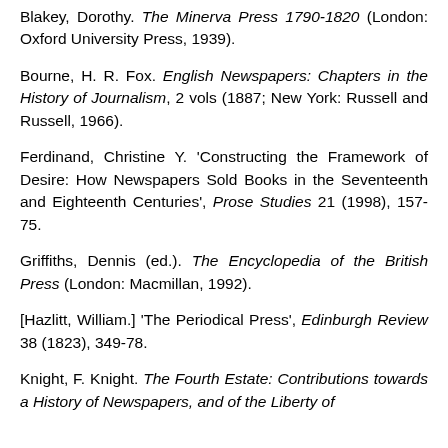Blakey, Dorothy. The Minerva Press 1790-1820 (London: Oxford University Press, 1939).
Bourne, H. R. Fox. English Newspapers: Chapters in the History of Journalism, 2 vols (1887; New York: Russell and Russell, 1966).
Ferdinand, Christine Y. 'Constructing the Framework of Desire: How Newspapers Sold Books in the Seventeenth and Eighteenth Centuries', Prose Studies 21 (1998), 157-75.
Griffiths, Dennis (ed.). The Encyclopedia of the British Press (London: Macmillan, 1992).
[Hazlitt, William.] 'The Periodical Press', Edinburgh Review 38 (1823), 349-78.
Knight, F. Knight. The Fourth Estate: Contributions towards a History of Newspapers, and of the Liberty of